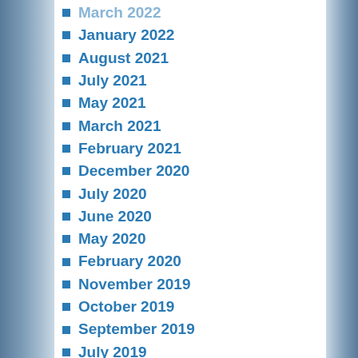March 2022
January 2022
August 2021
July 2021
May 2021
March 2021
February 2021
December 2020
July 2020
June 2020
May 2020
February 2020
November 2019
October 2019
September 2019
July 2019
May 2019
February 2019
January 2019
December 2018
November 2018
October 2018